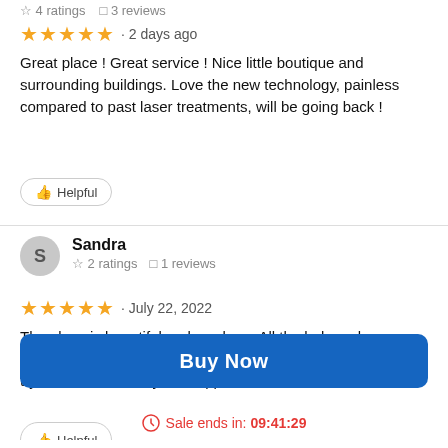☆ 4 ratings  ☐ 3 reviews
★★★★★ · 2 days ago
Great place ! Great service ! Nice little boutique and surrounding buildings. Love the new technology, painless compared to past laser treatments, will be going back !
👍 Helpful
Sandra
☆ 2 ratings  ☐ 1 reviews
★★★★★ · July 22, 2022
The place is beautiful and so clean. All the help makes you feel so welcomed. I would recommend anyone to give them a try. I can't wait for my next appt.
Buy Now
Sale ends in: 09:41:29